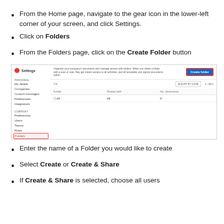From the Home page, navigate to the gear icon in the lower-left corner of your screen, and click Settings.
Click on Folders
From the Folders page, click on the Create Folder button
[Figure (screenshot): Screenshot of the Settings/Folders page in a web application, showing a sidebar with navigation items including Folders (highlighted in red border), and a main content area with a Create Folder button (highlighted in red border) in the upper right.]
Enter the name of a Folder you would like to create
Select Create or Create & Share
If Create & Share is selected, choose all users